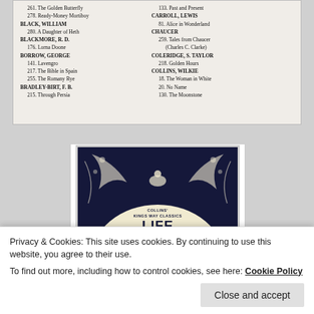[Figure (photo): Scanned page showing a book list with authors and titles in two columns. Authors include Black William, Blackmore R.D., Borrow George, Bradley-Birt F.B. on left; Carroll Lewis, Chaucer, Coleridge S. Taylor, Collins Wilkie on right. Decorative border and italic text 'Books That Matter' at bottom.]
[Figure (photo): Book cover for 'Life At The Mermaid' from Collins Kings Way Classics series. Dark background with art nouveau decorative floral and bird design framing a light arch area with the title text.]
Privacy & Cookies: This site uses cookies. By continuing to use this website, you agree to their use.
To find out more, including how to control cookies, see here: Cookie Policy